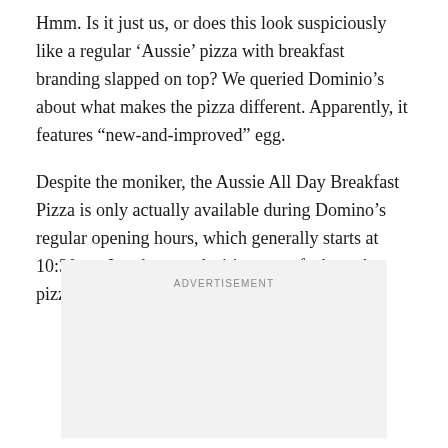Hmm. Is it just us, or does this look suspiciously like a regular ‘Aussie’ pizza with breakfast branding slapped on top? We queried Dominio’s about what makes the pizza different. Apparently, it features “new-and-improved” egg.
Despite the moniker, the Aussie All Day Breakfast Pizza is only actually available during Domino’s regular opening hours, which generally starts at 10:30am. In other words, it’s more of a brunch pizza really.
[Figure (other): Advertisement placeholder box with the label ADVERTISEMENT in small caps centered near the top]